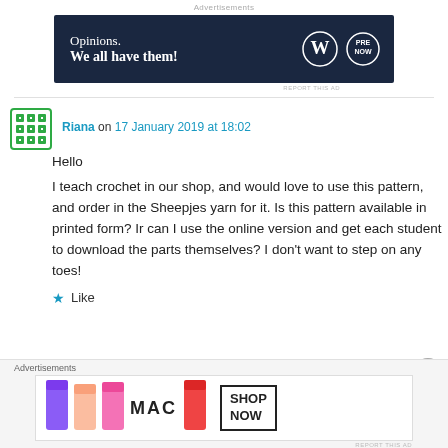[Figure (screenshot): Dark navy advertisement banner with text 'Opinions. We all have them!' and WordPress and another logo on the right]
Riana on 17 January 2019 at 18:02

Hello
I teach crochet in our shop, and would love to use this pattern, and order in the Sheepjes yarn for it. Is this pattern available in printed form? Ir can I use the online version and get each student to download the parts themselves? I don't want to step on any toes!
★ Like
[Figure (screenshot): MAC cosmetics advertisement banner with lipsticks and SHOP NOW text]